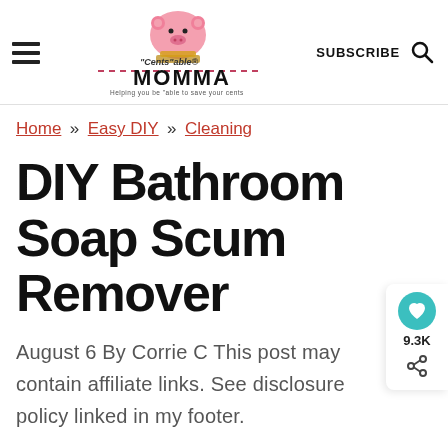"Cents"able MOMMA — Helping you be "able to save your cents | SUBSCRIBE
Home » Easy DIY » Cleaning
DIY Bathroom Soap Scum Remover
August 6 By Corrie C This post may contain affiliate links. See disclosure policy linked in my footer.